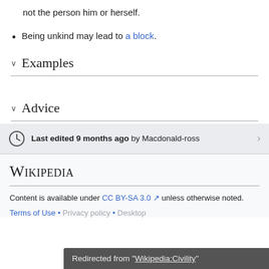not the person him or herself.
Being unkind may lead to a block.
Examples
Advice
Last edited 9 months ago by Macdonald-ross
Wikipedia
Content is available under CC BY-SA 3.0 unless otherwise noted.
Terms of Use • Privacy policy • Desktop
Redirected from "Wikipedia:Civility"